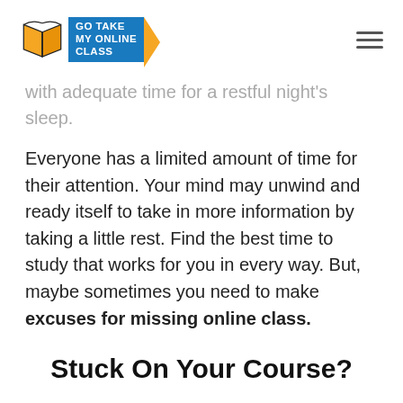Go Take My Online Class
with adequate time for a restful night's sleep.
Everyone has a limited amount of time for their attention. Your mind may unwind and ready itself to take in more information by taking a little rest. Find the best time to study that works for you in every way. But, maybe sometimes you need to make excuses for missing online class.
Stuck On Your Course?